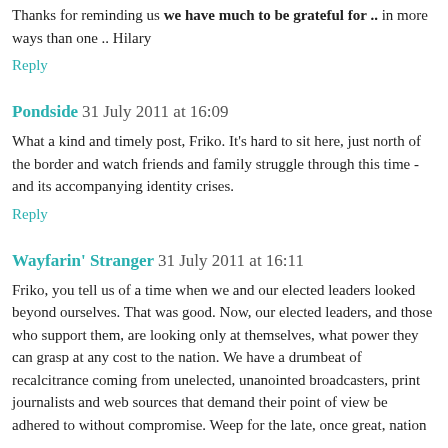Thanks for reminding us we have much to be grateful for .. in more ways than one .. Hilary
Reply
Pondside 31 July 2011 at 16:09
What a kind and timely post, Friko. It's hard to sit here, just north of the border and watch friends and family struggle through this time - and its accompanying identity crises.
Reply
Wayfarin' Stranger 31 July 2011 at 16:11
Friko, you tell us of a time when we and our elected leaders looked beyond ourselves. That was good. Now, our elected leaders, and those who support them, are looking only at themselves, what power they can grasp at any cost to the nation. We have a drumbeat of recalcitrance coming from unelected, unanointed broadcasters, print journalists and web sources that demand their point of view be adhered to without compromise. Weep for the late, once great, nation